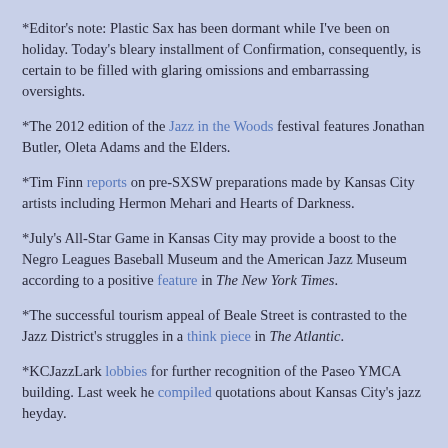*Editor's note: Plastic Sax has been dormant while I've been on holiday. Today's bleary installment of Confirmation, consequently, is certain to be filled with glaring omissions and embarrassing oversights.
*The 2012 edition of the Jazz in the Woods festival features Jonathan Butler, Oleta Adams and the Elders.
*Tim Finn reports on pre-SXSW preparations made by Kansas City artists including Hermon Mehari and Hearts of Darkness.
*July's All-Star Game in Kansas City may provide a boost to the Negro Leagues Baseball Museum and the American Jazz Museum according to a positive feature in The New York Times.
*The successful tourism appeal of Beale Street is contrasted to the Jazz District's struggles in a think piece in The Atlantic.
*KCJazzLark lobbies for further recognition of the Paseo YMCA building. Last week he compiled quotations about Kansas City's jazz heyday.